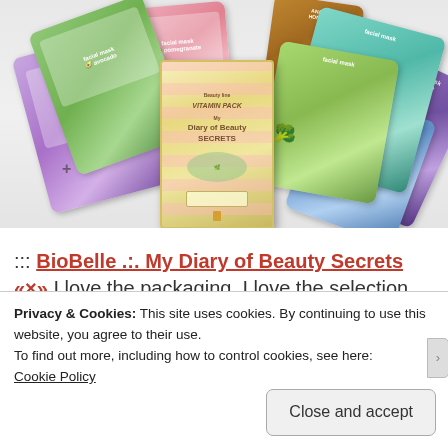[Figure (photo): Flat lay photo of multiple BioBelle facial sheet mask packets in various colors (purple, green, teal, blue) arranged on a white surface, with a gold-striped book/diary in the center labeled 'My Diary of Beauty Secrets'. Watermark reads '@Simplybeyoutified'.]
::: BioBelle .:. My Diary of Beauty Secrets «×» I love the packaging, I love the selection and I
Privacy & Cookies: This site uses cookies. By continuing to use this website, you agree to their use.
To find out more, including how to control cookies, see here:
Cookie Policy
Close and accept